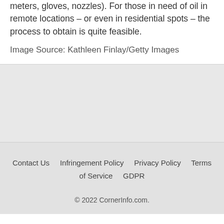meters, gloves, nozzles). For those in need of oil in remote locations – or even in residential spots – the process to obtain is quite feasible.
Image Source: Kathleen Finlay/Getty Images
Contact Us   Infringement Policy   Privacy Policy   Terms of Service   GDPR
© 2022 CornerInfo.com.